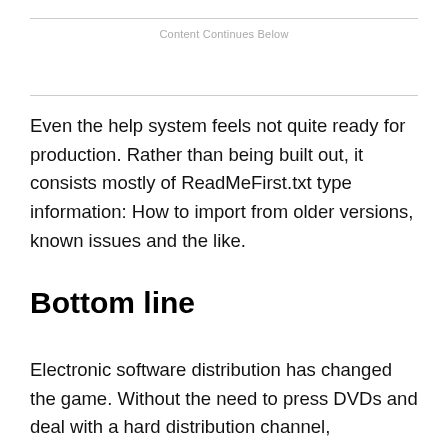Content Continues Below
Even the help system feels not quite ready for production. Rather than being built out, it consists mostly of ReadMeFirst.txt type information: How to import from older versions, known issues and the like.
Bottom line
Electronic software distribution has changed the game. Without the need to press DVDs and deal with a hard distribution channel, developers can